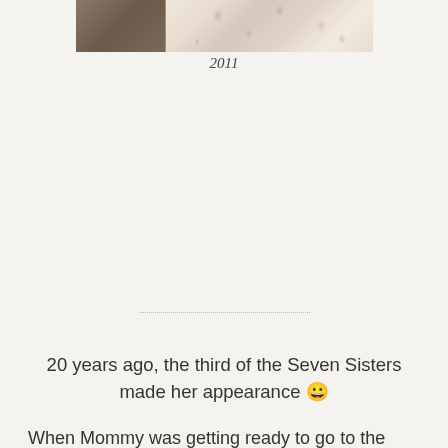[Figure (photo): Partial photo showing floral fabric/dress, cropped at top of page]
2011
20 years ago, the third of the Seven Sisters made her appearance 😀
When Mommy was getting ready to go to the hospital